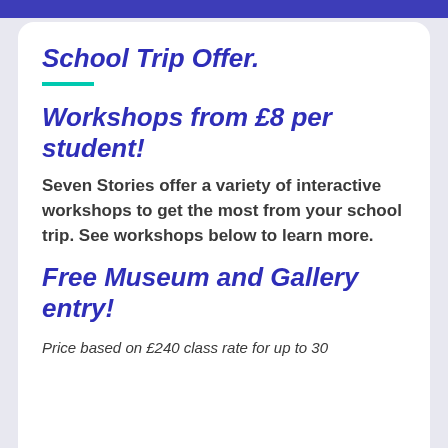School Trip Offer.
Workshops from £8 per student!
Seven Stories offer a variety of interactive workshops to get the most from your school trip. See workshops below to learn more.
Free Museum and Gallery entry!
Price based on £240 class rate for up to 30